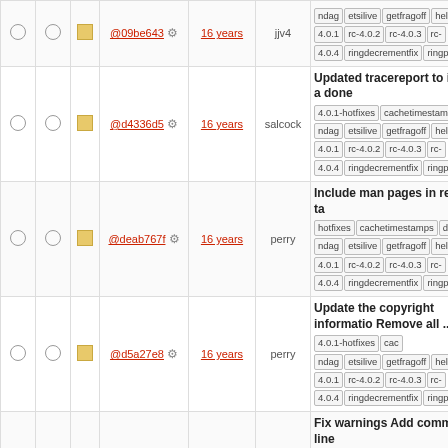|  |  |  | Hash | Age | User | Info |
| --- | --- | --- | --- | --- | --- | --- |
|  |  |  | @09be643 | 16 years | jjv4 | ndag etsilive getfragoff help libtr 4.0.1 rc-4.0.2 rc-4.0.3 rc-4.0.4 ringdecrementfix ringperforma |
|  |  |  | @d4336d5 | 16 years | salcock | Updated tracereport to include a done 4.0.1-hotfixes cachetimestam ndag etsilive getfragoff help libtr 4.0.1 rc-4.0.2 rc-4.0.3 rc-4.0.4 ringdecrementfix ringperforma |
|  |  |  | @deab767f | 16 years | perry | Include man pages in release ta hotfixes cachetimestamps develop ndag etsilive getfragoff help libtr 4.0.1 rc-4.0.2 rc-4.0.3 rc-4.0.4 ringdecrementfix ringperforma |
|  |  |  | @d5a27e8 | 16 years | perry | Update the copyright informatio Remove all ... 4.0.1-hotfixes cac ndag etsilive getfragoff help libtr 4.0.1 rc-4.0.2 rc-4.0.3 rc-4.0.4 ringdecrementfix ringperforma |
|  |  |  | @870e501 | 16 years | perry | Fix warnings Add command line hotfixes cachetimestamps develop ndag etsilive getfragoff help libtr 4.0.1 rc-4.0.2 rc-4.0.3 rc-4.0.4 ringdecrementfix ringperforma |
|  |  |  | @a7282fb | 16 years | perry | Fix lots of little warnings 4.0.1- hotfixes cachetimestamps develop ndag etsilive getfragoff help libtr 4.0.1 rc-4.0.2 rc-4.0.3 rc-4.0.4 ringdecrementfix ringperforma |
|  |  |  | @67825b2 | 16 years | perry | Update all the man pages to ma other (and ... 4.0.1-hotfixes cach ndag etsilive getfragoff help libtr 4.0.1 rc-4.0.2 rc-4.0.3 rc-4.0.4 ringdecrementfix ringperforma |